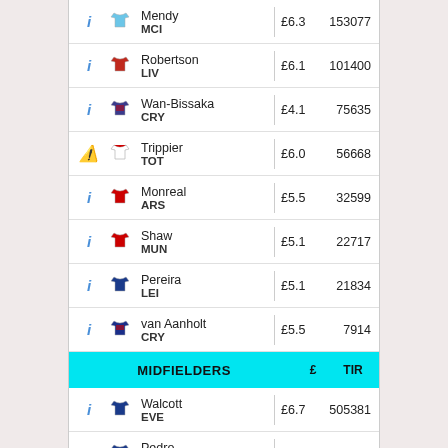|  |  | Player/Team |  | £ | TIR |
| --- | --- | --- | --- | --- | --- |
| i | shirt | Mendy / MCI | | | £6.3 | 153077 |
| i | shirt | Robertson / LIV | | | £6.1 | 101400 |
| i | shirt | Wan-Bissaka / CRY | | | £4.1 | 75635 |
| ⚠ | shirt | Trippier / TOT | | | £6.0 | 56668 |
| i | shirt | Monreal / ARS | | | £5.5 | 32599 |
| i | shirt | Shaw / MUN | | | £5.1 | 22717 |
| i | shirt | Pereira / LEI | | | £5.1 | 21834 |
| i | shirt | van Aanholt / CRY | | | £5.5 | 7914 |
| MIDFIELDERS |  |  |  | £ | TIR |
| i | shirt | Walcott / EVE | | | £6.7 | 505381 |
| i | shirt | Pedro / CHE | | | £6.7 | 131275 |